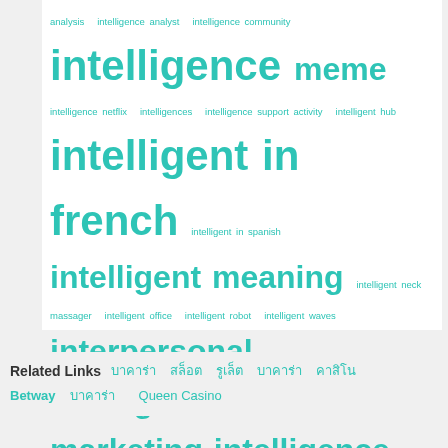[Figure (infographic): Tag cloud on intelligence-related terms in teal/cyan color on white background. Terms vary in font size indicating frequency/importance. Largest terms: 'signs of intelligence', 'intelligent in french', 'intelligence meme', 'signals intelligence analyst', 'marketing intelligence', 'interpersonal intelligence'. Smaller terms include: analysis, intelligence analyst, intelligence community, intelligence netflix, intelligences, intelligence support activity, intelligent hub, intelligent in spanish, intelligent meaning, intelligent neck massager, intelligent office, intelligent robot, intelligent waves, is intelligence genetic, k2 intelligence, military intelligence, misophonia and intelligence, multiple intelligence theory, open, operational intelligence, oracle business intelligence, remedy intelligent staffing, s&p market intelligence, strategic intelligence, wechsler intelligence scale.]
Related Links: บาคาร่า สล็อต รูเล็ต บาคาร่า คาสิโน Betway บาคาร่า Queen Casino